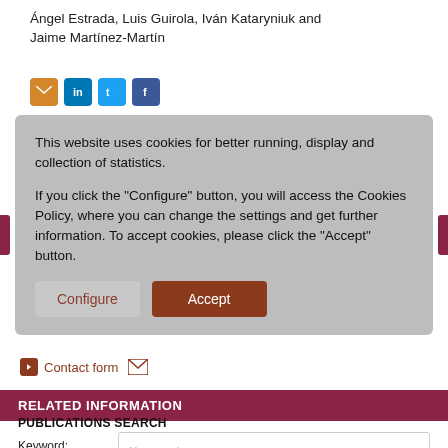Ángel Estrada, Luis Guirola, Iván Kataryniuk and Jaime Martínez-Martín
[Figure (other): Social sharing icons: email (orange), LinkedIn (blue), Twitter (light blue), Facebook (dark blue)]
This website uses cookies for better running, display and collection of statistics.

If you click the "Configure" button, you will access the Cookies Policy, where you can change the settings and get further information. To accept cookies, please click the "Accept" button.
Configure
Accept
Contact form
RELATED INFORMATION
PUBLICATIONS SEARCH
Keyword:
Author: